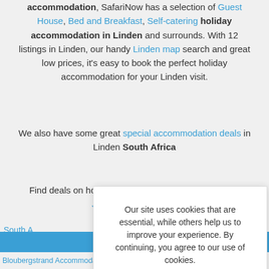accommodation, SafariNow has a selection of Guest House, Bed and Breakfast, Self-catering holiday accommodation in Linden and surrounds. With 12 listings in Linden, our handy Linden map search and great low prices, it's easy to book the perfect holiday accommodation for your Linden visit.
We also have some great special accommodation deals in Linden South Africa
Find deals on hotels in Gauteng. We list all the major Johannesburg Hotels
Our site uses cookies that are essential, while others help us to improve your experience. By continuing, you agree to our use of cookies. Read our Cookie and Privacy Policy
No
Yes
South A
Amanz
Filters
Bloubergstrand Accommodation | Cape Town Accommodation |